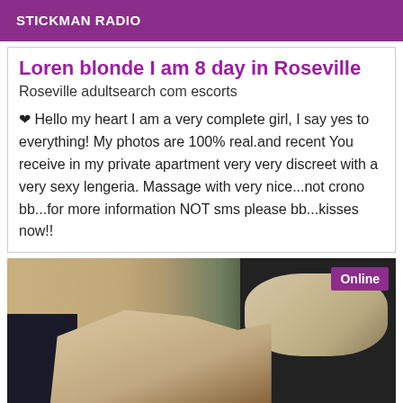STICKMAN RADIO
Loren blonde I am 8 day in Roseville
Roseville adultsearch com escorts
❤ Hello my heart I am a very complete girl, I say yes to everything! My photos are 100% real.and recent You receive in my private apartment very very discreet with a very sexy lengeria. Massage with very nice...not crono bb...for more information NOT sms please bb...kisses now!!
[Figure (photo): Photo of a person with legs visible, indoor setting with plant and dark background, Online badge overlay in purple]
Online